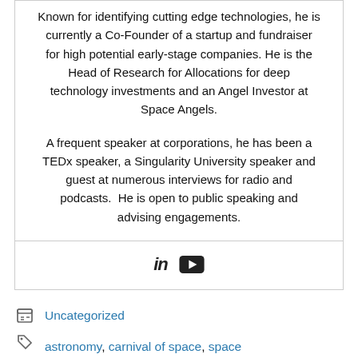Known for identifying cutting edge technologies, he is currently a Co-Founder of a startup and fundraiser for high potential early-stage companies. He is the Head of Research for Allocations for deep technology investments and an Angel Investor at Space Angels.

A frequent speaker at corporations, he has been a TEDx speaker, a Singularity University speaker and guest at numerous interviews for radio and podcasts.  He is open to public speaking and advising engagements.
[Figure (infographic): LinkedIn and YouTube social media icons]
Uncategorized
astronomy, carnival of space, space
< Smartphone improve Cochlear Implants